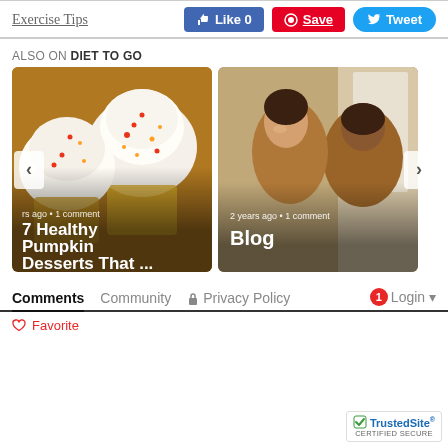Exercise Tips
[Figure (screenshot): Facebook Like button showing '0' likes]
[Figure (screenshot): Pinterest Save button]
[Figure (screenshot): Twitter Tweet button]
ALSO ON DIET TO GO
[Figure (photo): Cupcakes with white frosting and orange/red sprinkles. Slide shows '7 Healthy Pumpkin Desserts That ...' with '...rs ago • 1 comment']
[Figure (photo): Woman smiling looking in a mirror. Slide shows 'Blog' with '2 years ago • 1 comment']
Comments  Community  🔒 Privacy Policy  🔴1  Login ▼
♡ Favorite
[Figure (logo): TrustedSite CERTIFIED SECURE badge]